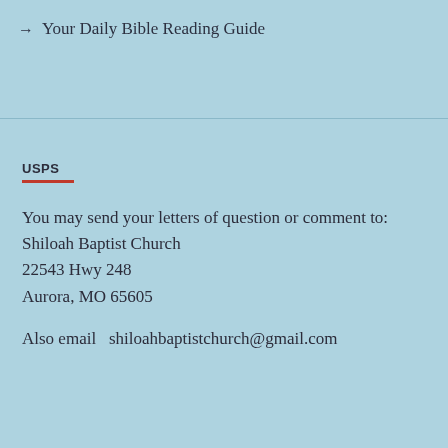→  Your Daily Bible Reading Guide
USPS
You may send your letters of question or comment to:
Shiloah Baptist Church
22543 Hwy 248
Aurora, MO 65605

Also email  shiloahbaptistchurch@gmail.com